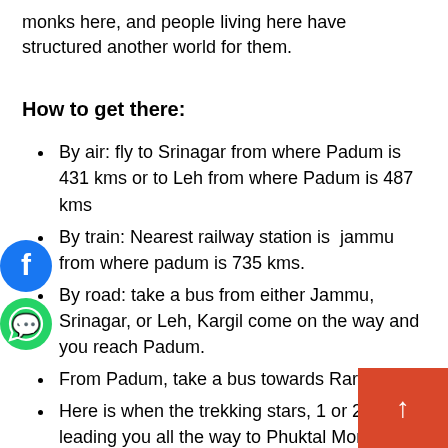monks here, and people living here have structured another world for them.
How to get there:
By air: fly to Srinagar from where Padum is 431 kms or to Leh from where Padum is 487 kms
By train: Nearest railway station is  jammu from where padum is 735 kms.
By road: take a bus from either Jammu, Srinagar, or Leh, Kargil come on the way and you reach Padum.
From Padum, take a bus towards Raru
Here is when the trekking stars, 1 or 2 da leading you all the way to Phuktal Monas